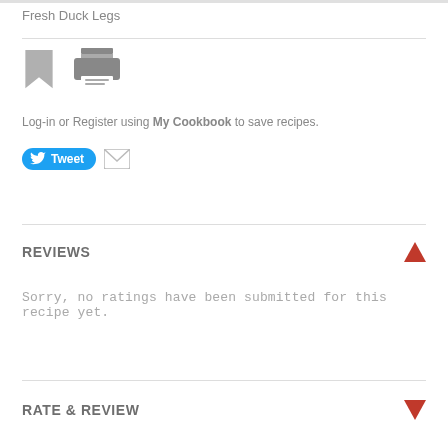Fresh Duck Legs
[Figure (illustration): Bookmark icon (grey) and printer icon (grey)]
Log-in or Register using My Cookbook to save recipes.
[Figure (illustration): Tweet button (blue with Twitter bird) and email icon]
REVIEWS
Sorry, no ratings have been submitted for this recipe yet.
RATE & REVIEW